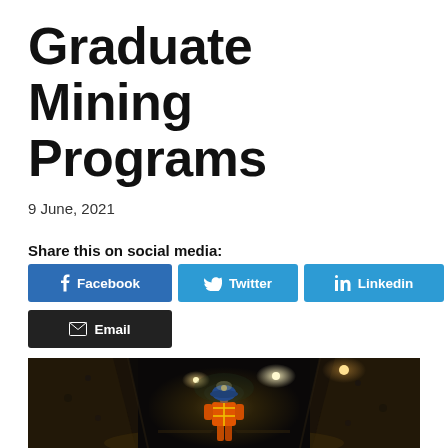Graduate Mining Programs
9 June, 2021
Share this on social media:
[Figure (other): Social media share buttons: Facebook, Twitter, Linkedin, Email]
[Figure (photo): A miner in an orange high-visibility suit and blue hard hat walking through a dimly lit underground mine tunnel with lights glowing in the background.]